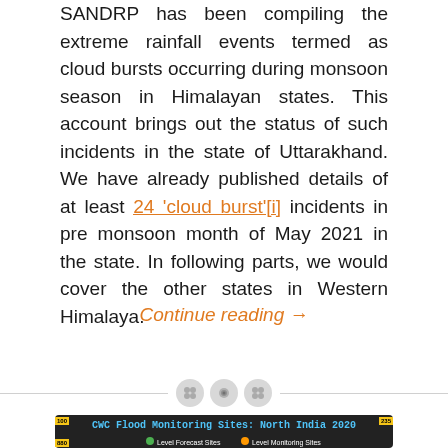SANDRP has been compiling the extreme rainfall events termed as cloud bursts occurring during monsoon season in Himalayan states. This account brings out the status of such incidents in the state of Uttarakhand. We have already published details of at least 24 'cloud burst'[i] incidents in pre monsoon month of May 2021 in the state. In following parts, we would cover the other states in Western Himalaya.
Continue reading →
[Figure (map): CWC Flood Monitoring Sites: North India 2020 map with legend showing Level Forecast Sites (green) and Level Monitoring Sites (orange)]